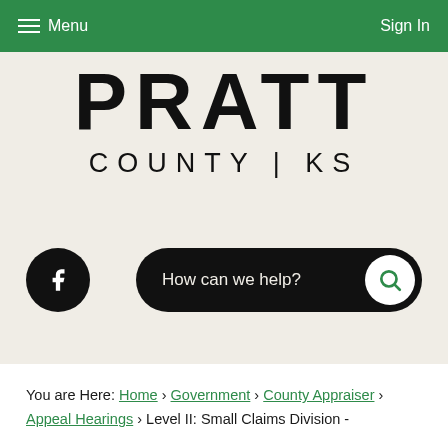Menu | Sign In
[Figure (logo): Pratt County KS government logo with large bold PRATT text and COUNTY | KS below]
[Figure (other): Facebook social icon circle button and How can we help search bar with green search icon]
You are Here: Home › Government › County Appraiser › Appeal Hearings › Level II: Small Claims Division -